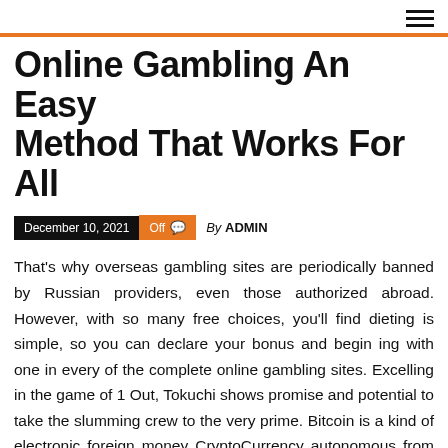≡
Online Gambling An Easy Method That Works For All
December 10, 2021  Off  By ADMIN
That's why overseas gambling sites are periodically banned by Russian providers, even those authorized abroad. However, with so many free choices, you'll find dieting is simple, so you can declare your bonus and begin ing with one in every of the complete online gambling sites. Excelling in the game of 1 Out, Tokuchi shows promise and potential to take the slumming crew to the very prime. Bitcoin is a kind of electronic foreign money CryptoCurrency autonomous from traditional banking and circulation in 2009. According to some top online traders,